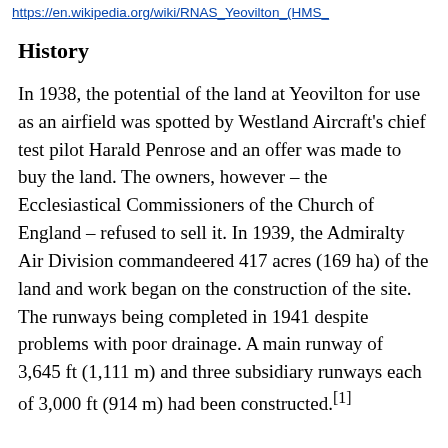https://en.wikipedia.org/wiki/RNAS_Yeovilton_(HMS_
History
In 1938, the potential of the land at Yeovilton for use as an airfield was spotted by Westland Aircraft's chief test pilot Harald Penrose and an offer was made to buy the land. The owners, however – the Ecclesiastical Commissioners of the Church of England – refused to sell it. In 1939, the Admiralty Air Division commandeered 417 acres (169 ha) of the land and work began on the construction of the site. The runways being completed in 1941 despite problems with poor drainage. A main runway of 3,645 ft (1,111 m) and three subsidiary runways each of 3,000 ft (914 m) had been constructed.[1]